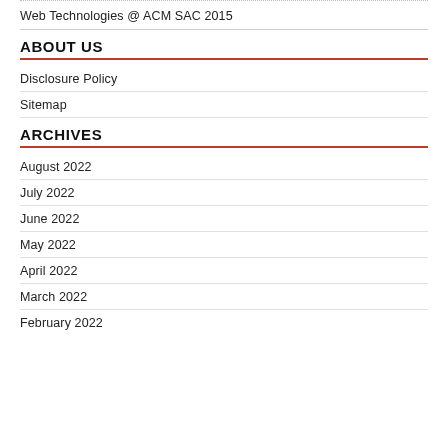Web Technologies @ ACM SAC 2015
ABOUT US
Disclosure Policy
Sitemap
ARCHIVES
August 2022
July 2022
June 2022
May 2022
April 2022
March 2022
February 2022